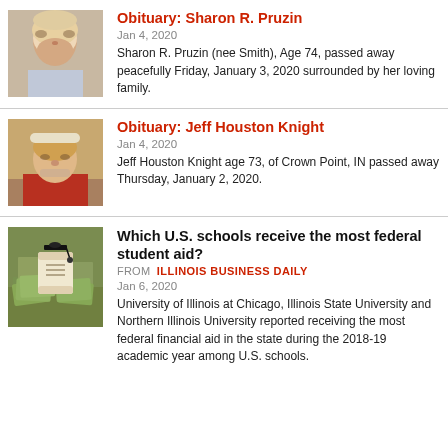[Figure (photo): Elderly woman with short white/blonde hair, light colored clothing]
Obituary: Sharon R. Pruzin
Jan 4, 2020
Sharon R. Pruzin (nee Smith), Age 74, passed away peacefully Friday, January 3, 2020 surrounded by her loving family.
[Figure (photo): Older man wearing a cap and red shirt, smiling]
Obituary: Jeff Houston Knight
Jan 4, 2020
Jeff Houston Knight age 73, of Crown Point, IN passed away Thursday, January 2, 2020.
[Figure (photo): Diploma/scroll on top of pile of US dollar bills with graduation cap]
Which U.S. schools receive the most federal student aid?
FROM  ILLINOIS BUSINESS DAILY
Jan 6, 2020
University of Illinois at Chicago, Illinois State University and Northern Illinois University reported receiving the most federal financial aid in the state during the 2018-19 academic year among U.S. schools.